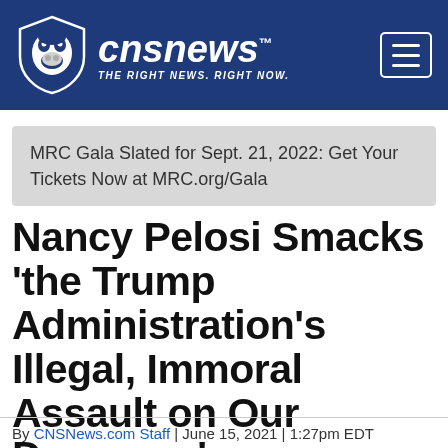CNSNews THE RIGHT NEWS. RIGHT NOW.
MRC Gala Slated for Sept. 21, 2022: Get Your Tickets Now at MRC.org/Gala
Nancy Pelosi Smacks ‘the Trump Administration’s Illegal, Immoral Assault on Our Dreamers’
By CNSNews.com Staff | June 15, 2021 | 1:27pm EDT